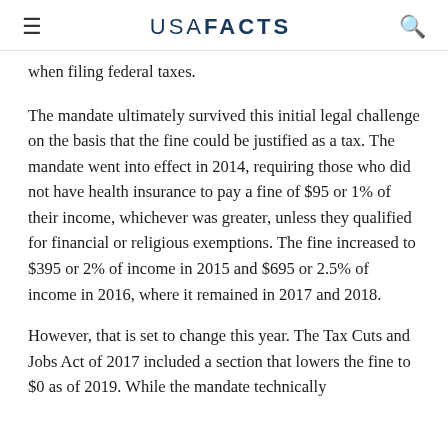≡  USA FACTS  🔍
when filing federal taxes.
The mandate ultimately survived this initial legal challenge on the basis that the fine could be justified as a tax. The mandate went into effect in 2014, requiring those who did not have health insurance to pay a fine of $95 or 1% of their income, whichever was greater, unless they qualified for financial or religious exemptions. The fine increased to $395 or 2% of income in 2015 and $695 or 2.5% of income in 2016, where it remained in 2017 and 2018.
However, that is set to change this year. The Tax Cuts and Jobs Act of 2017 included a section that lowers the fine to $0 as of 2019. While the mandate technically